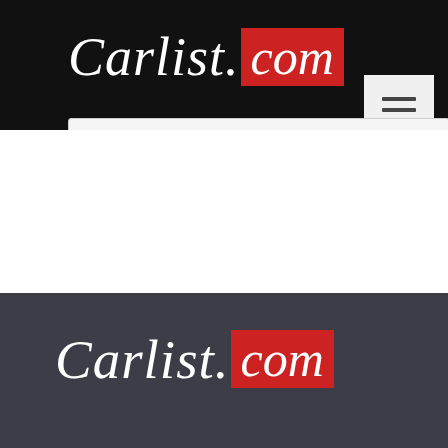[Figure (logo): Carlist.com logo on black header bar with red top strip. 'Carlist.' in white cursive script and '.com' in white cursive on red background box.]
[Figure (other): Hamburger menu button (three horizontal lines) in a light grey square on the black header, right side.]
[Figure (logo): Carlist.com logo on dark grey footer bar. 'Carlist.' in white cursive script and 'com' in white cursive on red background box.]